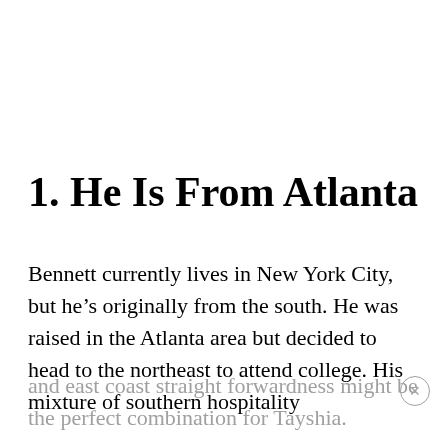1. He Is From Atlanta
Bennett currently lives in New York City, but he's originally from the south. He was raised in the Atlanta area but decided to head to the northeast to attend college. His mixture of southern hospitality and east coast straight forwardness might be the perfect combination for Tayshia.